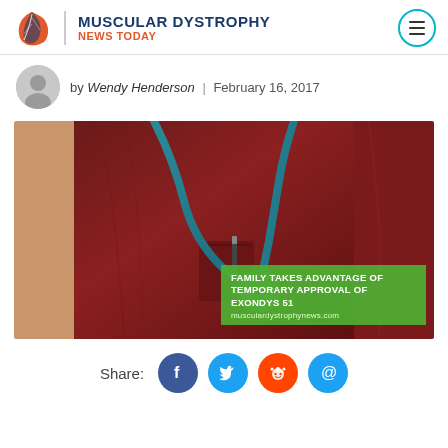MUSCULAR DYSTROPHY NEWS TODAY
by Wendy Henderson | February 16, 2017
[Figure (photo): Close-up photo of a healthcare worker in maroon scrubs with a stethoscope. Overlaid text reads: FAMILY TAKES ADVANTAGE OF TEMPORARY APPROVAL OF EXONDYS 51 musculardystrophynews.com]
Share: